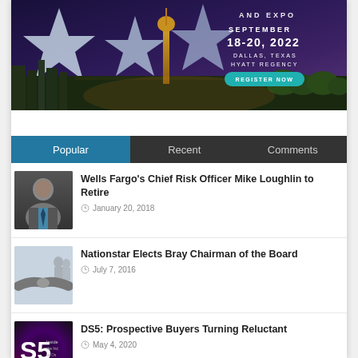[Figure (photo): Event banner for a conference in Dallas, Texas at Hyatt Regency, September 18-20, 2022. Features Dallas skyline with Reunion Tower, three large stars, and a 'Register Now' button.]
Popular | Recent | Comments
[Figure (photo): Headshot of a middle-aged man in a suit and tie]
Wells Fargo's Chief Risk Officer Mike Loughlin to Retire
January 20, 2018
[Figure (photo): Handshake image with business people in background]
Nationstar Elects Bray Chairman of the Board
July 7, 2016
[Figure (photo): DS5 Inside the Industry event thumbnail with dark blue and red swirl background and large S5 logo]
DS5: Prospective Buyers Turning Reluctant
May 4, 2020
[Figure (photo): Partial thumbnail of another article, cut off at bottom of page]
DS5: What Does Economic Re...